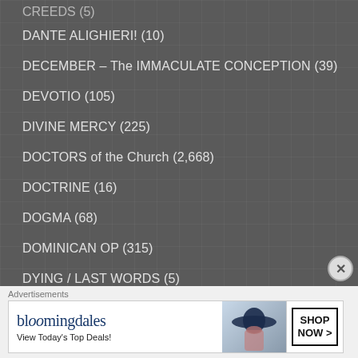CREEDS (5)
DANTE ALIGHIERI! (10)
DECEMBER – The IMMACULATE CONCEPTION (39)
DEVOTIO (105)
DIVINE MERCY (225)
DOCTORS of the Church (2,668)
DOCTRINE (16)
DOGMA (68)
DOMINICAN OP (315)
DYING / LAST WORDS (5)
EASTER (222)
Advertisements
[Figure (screenshot): Bloomingdale's advertisement banner: 'View Today's Top Deals!' with SHOP NOW > button and image of woman with wide-brim hat]